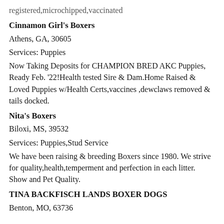registered,microchipped,vaccinated
Cinnamon Girl's Boxers
Athens, GA, 30605
Services: Puppies
Now Taking Deposits for CHAMPION BRED AKC Puppies, Ready Feb. '22!Health tested Sire & Dam.Home Raised & Loved Puppies w/Health Certs,vaccines ,dewclaws removed & tails docked.
Nita's Boxers
Biloxi, MS, 39532
Services: Puppies,Stud Service
We have been raising & breeding Boxers since 1980. We strive for quality,health,temperment and perfection in each litter. Show and Pet Quality.
TINA BACKFISCH LANDS BOXER DOGS
Benton, MO, 63736